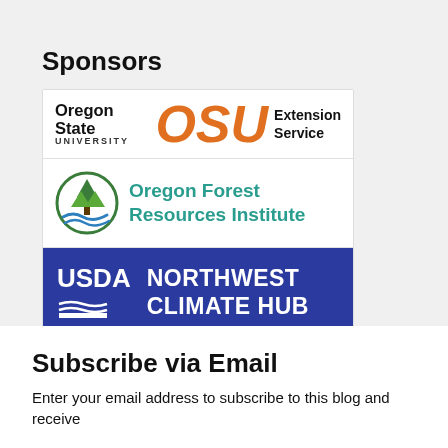Sponsors
[Figure (logo): Oregon State University Extension Service logo — bold 'Oregon State' with 'UNIVERSITY' in small caps, large orange italic 'OSU' letters, and 'Extension Service' text]
[Figure (logo): Oregon Forest Resources Institute logo — circular green tree/forest icon with blue swoosh, and teal text 'Oregon Forest Resources Institute']
[Figure (logo): USDA Northwest Climate Hub logo — blue background with white USDA text and wave lines graphic, plus 'NORTHWEST CLIMATE HUB' in large white bold text]
Subscribe via Email
Enter your email address to subscribe to this blog and receive